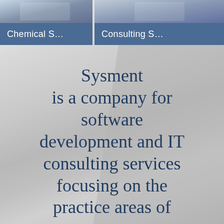[Figure (photo): Top left photo strip showing partial image with blue tones]
[Figure (photo): Top right photo strip showing partial image with blue-gray tones]
Chemical S...
Consulting S...
[Figure (photo): Background photo of laptop keyboard with gray diagonal overlay panel]
Sysment is a company for software development and IT consulting services focusing on the practice areas of